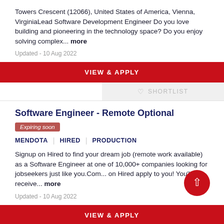Towers Crescent (12066), United States of America, Vienna, VirginiaLead Software Development Engineer Do you love building and pioneering in the technology space? Do you enjoy solving complex... more
Updated - 10 Aug 2022
VIEW & APPLY
SHORTLIST
Software Engineer - Remote Optional
Expiring soon
MENDOTA | HIRED | PRODUCTION
Signup on Hired to find your dream job (remote work available) as a Software Engineer at one of 10,000+ companies looking for jobseekers just like you.Com... on Hired apply to you! You'll receive... more
Updated - 10 Aug 2022
VIEW & APPLY